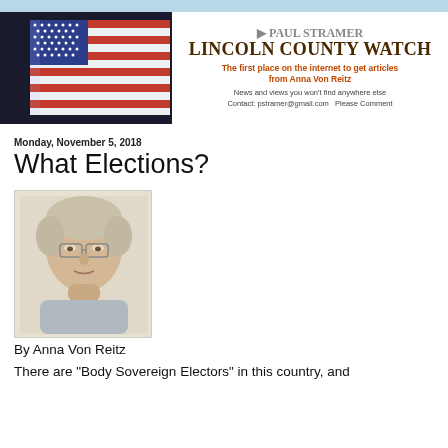[Figure (photo): American flag photo used as header banner image on left side]
PAUL STRAMER LINCOLN COUNTY WATCH
The first place on the internet to get articles from Anna Von Reitz
News and views you won't find anywhere else
Contact: pstramer@gmail.com   Please Comment
Monday, November 5, 2018
What Elections?
[Figure (photo): Portrait photo of Anna Von Reitz, an older woman with short gray hair and glasses]
By Anna Von Reitz
There are "Body Sovereign Electors" in this country, and